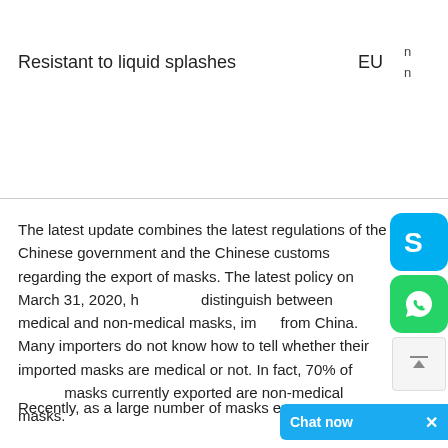Resistant to liquid splashes	EU
The latest update combines the latest regulations of the Chinese government and the Chinese customs regarding the export of masks. The latest policy on March 31, 2020, has distinguish between medical and non-medical masks, imported from China. Many importers do not know how to tell whether their imported masks are medical or not. In fact, 70% of masks currently exported are non-medical masks.
Recently, as a large number of masks exp